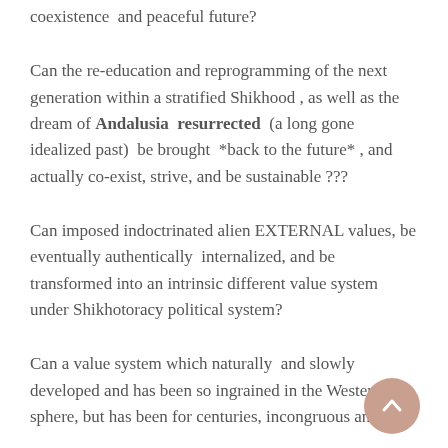coexistence  and peaceful future?
Can the re-education and reprogramming of the next generation within a stratified Shikhood , as well as the dream of Andalusia resurrected  (a long gone idealized past)  be brought  *back to the future* , and actually co-exist, strive, and be sustainable ???
Can imposed indoctrinated alien EXTERNAL values, be eventually authentically  internalized, and be transformed into an intrinsic different value system under Shikhotoracy political system?
Can a value system which naturally and slowly developed and has been so ingrained in the Western sphere, but has been for centuries, incongruous and